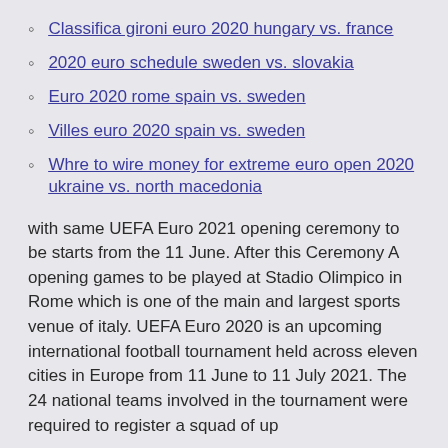Classifica gironi euro 2020 hungary vs. france
2020 euro schedule sweden vs. slovakia
Euro 2020 rome spain vs. sweden
Villes euro 2020 spain vs. sweden
Whre to wire money for extreme euro open 2020 ukraine vs. north macedonia
with same UEFA Euro 2021 opening ceremony to be starts from the 11 June. After this Ceremony A opening games to be played at Stadio Olimpico in Rome which is one of the main and largest sports venue of italy. UEFA Euro 2020 is an upcoming international football tournament held across eleven cities in Europe from 11 June to 11 July 2021. The 24 national teams involved in the tournament were required to register a squad of up